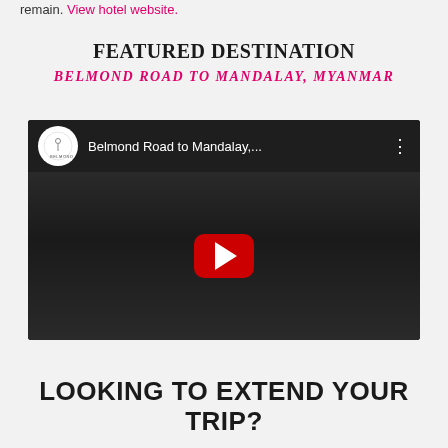remain. View hotel website.
FEATURED DESTINATION
BELMOND ROAD TO MANDALAY, MYANMAR
[Figure (screenshot): YouTube video embed showing Belmond Road to Mandalay Myanmar with Belmond logo, video title, three-dot menu, and red YouTube play button over a dark thumbnail of a pool/boat deck scene]
LOOKING TO EXTEND YOUR TRIP?